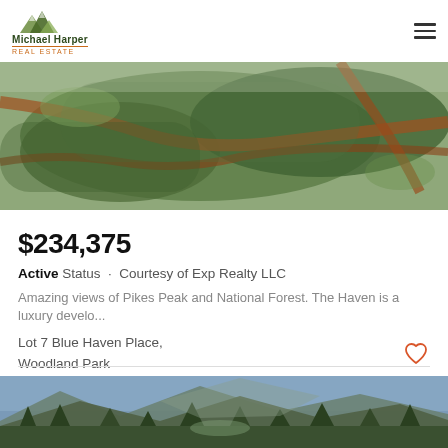Michael Harper Real Estate
[Figure (photo): Aerial panoramic view of forested land with red dirt roads winding through trees, Pikes Peak area]
$234,375
Active Status · Courtesy of Exp Realty LLC
Amazing views of Pikes Peak and National Forest. The Haven is a luxury develo...
Lot 7 Blue Haven Place, Woodland Park
Listing courtesy of Exp Realty LLC.
[Figure (photo): Aerial panoramic view of mountain landscape with dense forest, mountains in background, Woodland Park area]